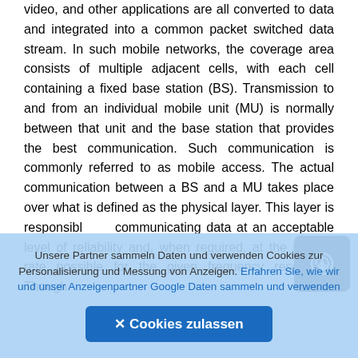video, and other applications are all converted to data and integrated into a common packet switched data stream. In such mobile networks, the coverage area consists of multiple adjacent cells, with each cell containing a fixed base station (BS). Transmission to and from an individual mobile unit (MU) is normally between that unit and the base station that provides the best communication. Such communication is commonly referred to as mobile access. The actual communication between a BS and a MU takes place over what is defined as the physical layer. This layer is responsible for communicating data at an acceptable level of reliability and, when required, at the highest rate possible for the given frequency resources. Though
[Figure (other): Scroll/navigation icon - dark rounded square with a circular arrow icon]
Unsere Partner sammeln Daten und verwenden Cookies zur Personalisierung und Messung von Anzeigen. Erfahren Sie, wie wir und unser Anzeigenpartner Google Daten sammeln und verwenden